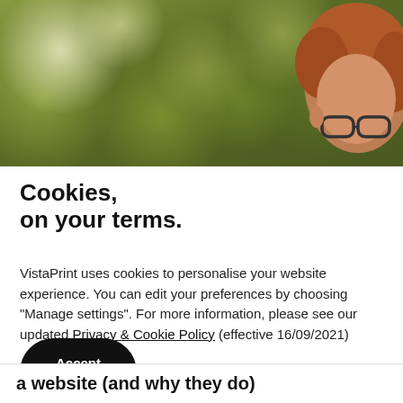[Figure (photo): Bokeh outdoor background with green foliage blur and a person with red curly hair and glasses partially visible on the right side]
Cookies, on your terms.
VistaPrint uses cookies to personalise your website experience. You can edit your preferences by choosing “Manage settings”. For more information, please see our updated Privacy & Cookie Policy (effective 16/09/2021)
Accept all cookies | Manage settings →
a website (and why they do)